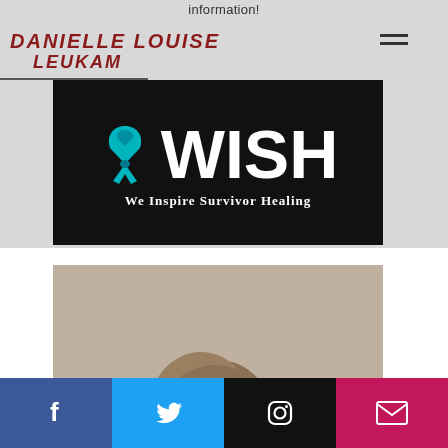information!
DANIELLE LOUISE LEUKAM
[Figure (logo): WISH logo - teal awareness ribbon with text 'WISH' in large white bold letters and tagline 'We Inspire Survivor Healing' on black background]
[Figure (photo): Portrait photo of a person - head and shoulders visible, appearing to have light brown hair, against a neutral background]
[Figure (infographic): Social media bar with four buttons: Facebook (blue), Twitter (light blue), Instagram (black), Email (pink/magenta)]